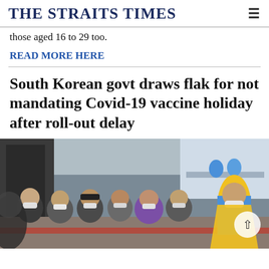THE STRAITS TIMES
those aged 16 to 29 too.
READ MORE HERE
South Korean govt draws flak for not mandating Covid-19 vaccine holiday after roll-out delay
[Figure (photo): People wearing masks seated in a row at what appears to be a Covid-19 vaccination center in South Korea. A worker in a yellow vest stands to the right.]